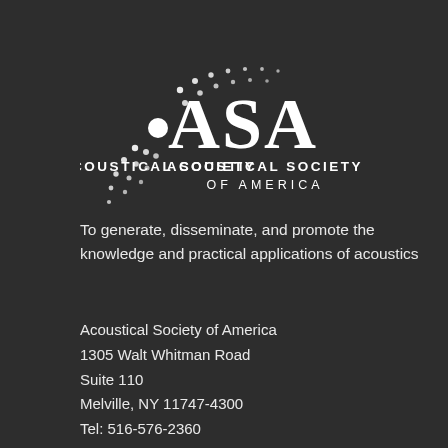[Figure (logo): Acoustical Society of America (ASA) logo with sound wave dots forming an 'S' shape around a central dot, with text 'ASA' in large serif font and 'ACOUSTICAL SOCIETY OF AMERICA' below]
To generate, disseminate, and promote the knowledge and practical applications of acoustics
Acoustical Society of America
1305 Walt Whitman Road
Suite 110
Melville, NY 11747-4300
Tel: 516-576-2360
Fax: 516-576-2377
email: asa@acousticalsociety.org
Website: acousticalsociety.org